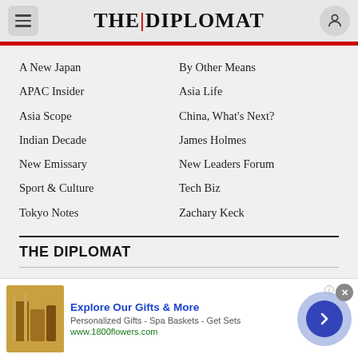THE DIPLOMAT
A New Japan
By Other Means
APAC Insider
Asia Life
Asia Scope
China, What's Next?
Indian Decade
James Holmes
New Emissary
New Leaders Forum
Sport & Culture
Tech Biz
Tokyo Notes
Zachary Keck
THE DIPLOMAT
About Us
Contact Us
[Figure (other): Advertisement banner: Explore Our Gifts & More - Personalized Gifts - Spa Baskets - Get Sets - www.1800flowers.com]